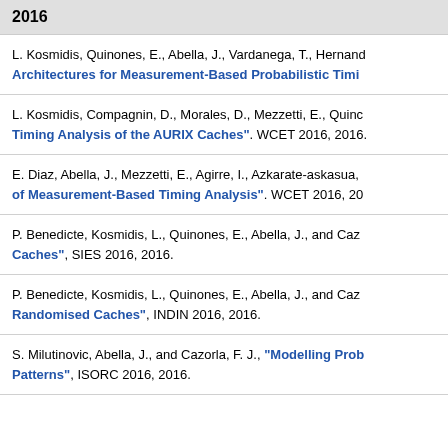2016
L. Kosmidis, Quinones, E., Abella, J., Vardanega, T., Hernand… "Architectures for Measurement-Based Probabilistic Timi…"
L. Kosmidis, Compagnin, D., Morales, D., Mezzetti, E., Quinc… "Timing Analysis of the AURIX Caches". WCET 2016, 2016.
E. Diaz, Abella, J., Mezzetti, E., Agirre, I., Azkarate-askasua, … "…of Measurement-Based Timing Analysis". WCET 2016, 20…
P. Benedicte, Kosmidis, L., Quinones, E., Abella, J., and Caz… "…Caches", SIES 2016, 2016.
P. Benedicte, Kosmidis, L., Quinones, E., Abella, J., and Caz… "…Randomised Caches", INDIN 2016, 2016.
S. Milutinovic, Abella, J., and Cazorla, F. J., "Modelling Prob… Patterns", ISORC 2016, 2016.